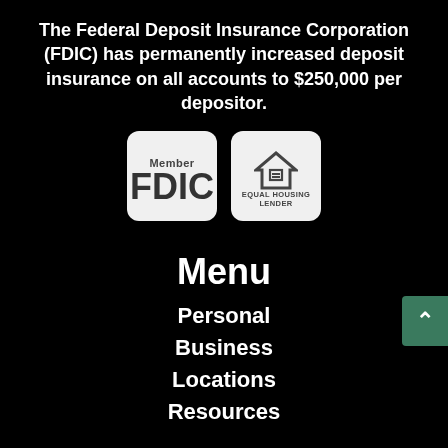The Federal Deposit Insurance Corporation (FDIC) has permanently increased deposit insurance on all accounts to $250,000 per depositor.
[Figure (logo): Member FDIC logo and Equal Housing Lender logo side by side on white rounded-corner boxes against black background]
Menu
Personal
Business
Locations
Resources
Support